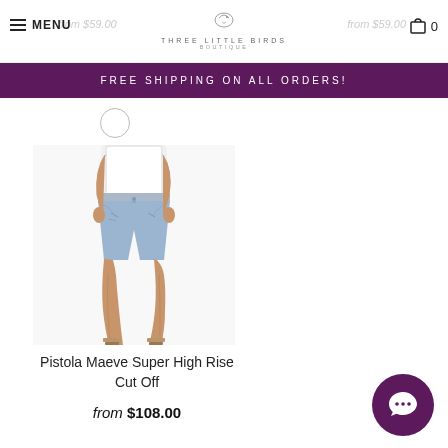MENU | Three Little Birds Boutique | from $59.00 | from $59.00 | Cart 0
FREE SHIPPING ON ALL ORDERS!
[Figure (photo): Woman wearing light-wash denim cut-off high-rise shorts with a white top and tan sandals, photographed from waist down]
Pistola Maeve Super High Rise Cut Off
from $108.00